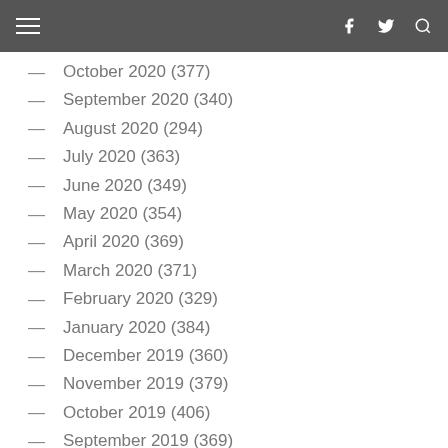≡  f  🐦  🔍
October 2020 (377)
September 2020 (340)
August 2020 (294)
July 2020 (363)
June 2020 (349)
May 2020 (354)
April 2020 (369)
March 2020 (371)
February 2020 (329)
January 2020 (384)
December 2019 (360)
November 2019 (379)
October 2019 (406)
September 2019 (369)
August 2019 (380)
July 2019 (1267)
June 2019 (1013)